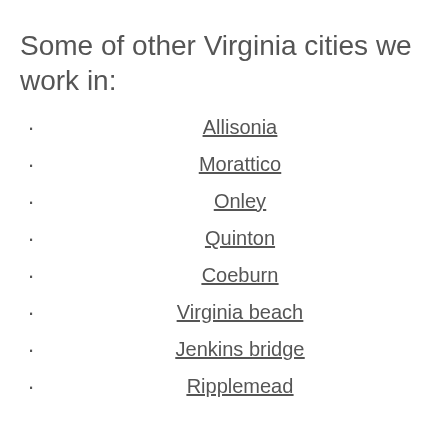Some of other Virginia cities we work in:
Allisonia
Morattico
Onley
Quinton
Coeburn
Virginia beach
Jenkins bridge
Ripplemead